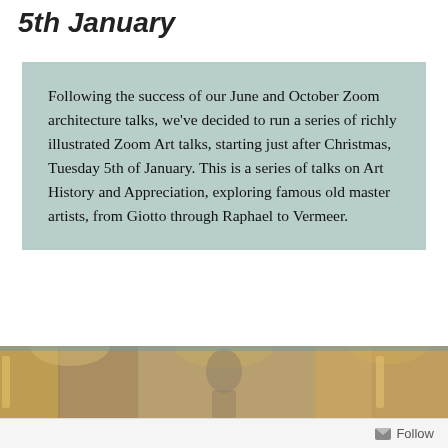5th January
Following the success of our June and October Zoom architecture talks, we've decided to run a series of richly illustrated Zoom Art talks, starting just after Christmas, Tuesday 5th of January. This is a series of talks on Art History and Appreciation, exploring famous old master artists, from Giotto through Raphael to Vermeer.
[Figure (photo): A horizontal strip showing classical Renaissance-style paintings or architectural details with figures, columns, and decorative elements in warm gold and blue tones.]
Follow